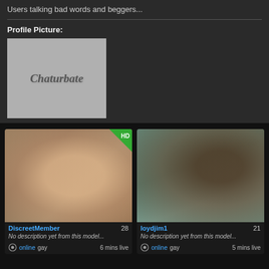Users talking bad words and beggers...
Profile Picture:
[Figure (logo): Chaturbate placeholder logo on grey background]
[Figure (photo): Webcam thumbnail of DiscreetMember with HD badge]
DiscreetMember 28
No description yet from this model...
online gay 6 mins live
[Figure (photo): Webcam thumbnail of loydjim1]
loydjim1 21
No description yet from this model...
online gay 5 mins live